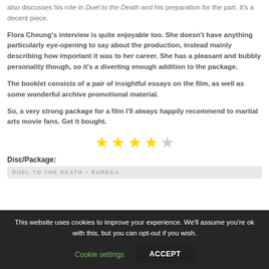also discusses his role in Duel to the Death and his preparation for the part. It's a decent piece.
Flora Cheung's interview is quite enjoyable too. She doesn't have anything particularly eye-opening to say about the production, instead mainly describing how important it was to her career. She has a pleasant and bubbly personality though, so it's a diverting enough addition to the package.
The booklet consists of a pair of insightful essays on the film, as well as some wonderful archive promotional material.
So, a very strong package for a film I'll always happily recommend to martial arts movie fans. Get it bought.
[Figure (other): 4 out of 5 star rating shown as yellow filled stars with one empty star]
Disc/Package:
DUEL TO THE DEATH – EUREKA
This website uses cookies to improve your experience. We'll assume you're ok with this, but you can opt-out if you wish.
Cookie settings   ACCEPT